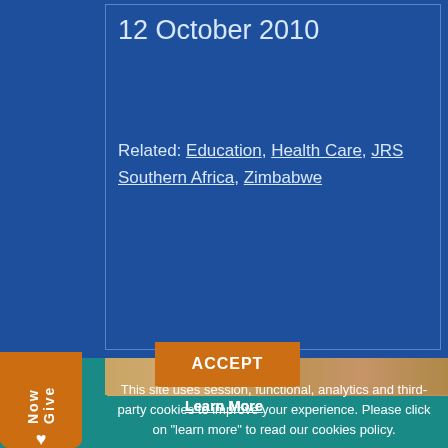12 October 2010
Related: Education, Health Care, JRS Southern Africa, Zimbabwe
[Figure (photo): Partial photo strip visible behind cookie consent overlay]
Give Now
This site uses session, functional, analytics and third-party cookies to improve your experience. Please click on "learn more" to read our cookies policy.
ACCEPT
Learn More